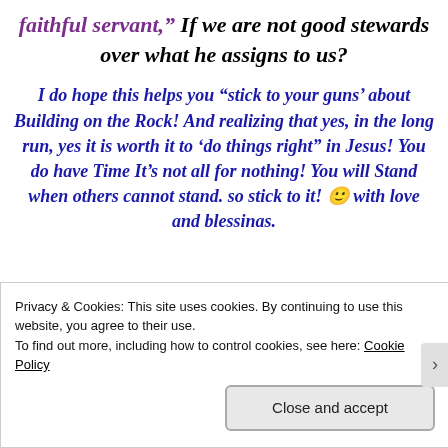faithful servant," If we are not good stewards over what he assigns to us?
I do hope this helps you “stick to your guns’ about Building on the Rock! And realizing that yes, in the long run, yes it is worth it to ‘do things right” in Jesus! You do have Time It’s not all for nothing! You will Stand when others cannot stand. so stick to it! 🙂 with love and blessinas.
Privacy & Cookies: This site uses cookies. By continuing to use this website, you agree to their use.
To find out more, including how to control cookies, see here: Cookie Policy